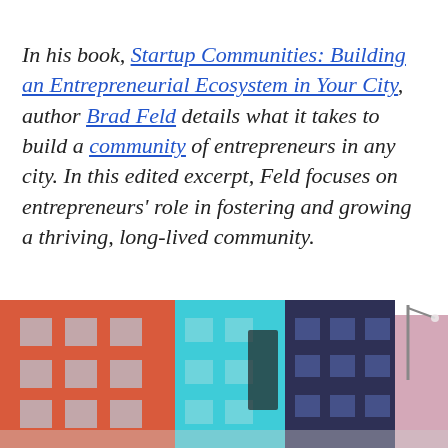In his book, Startup Communities: Building an Entrepreneurial Ecosystem in Your City, author Brad Feld details what it takes to build a community of entrepreneurs in any city. In this edited excerpt, Feld focuses on entrepreneurs' role in fostering and growing a thriving, long-lived community.
[Figure (photo): Street-level photograph of colorful building facades in red, teal/cyan, dark navy, and pink, with a street lamp visible on the right side.]